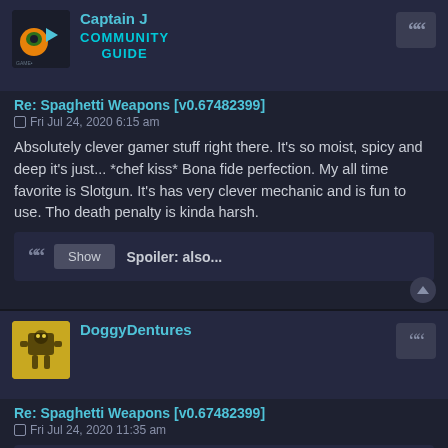Captain J
COMMUNITY GUIDE
Re: Spaghetti Weapons [v0.67482399]
Fri Jul 24, 2020 6:15 am
Absolutely clever gamer stuff right there. It's so moist, spicy and deep it's just... *chef kiss* Bona fide perfection. My all time favorite is Slotgun. It's has very clever mechanic and is fun to use. Tho death penalty is kinda harsh.
Spoiler: also...
DoggyDentures
Re: Spaghetti Weapons [v0.67482399]
Fri Jul 24, 2020 11:35 am
Captain J wrote:
Absolutely clever gamer stuff right there. It's so moist, spicy and deep